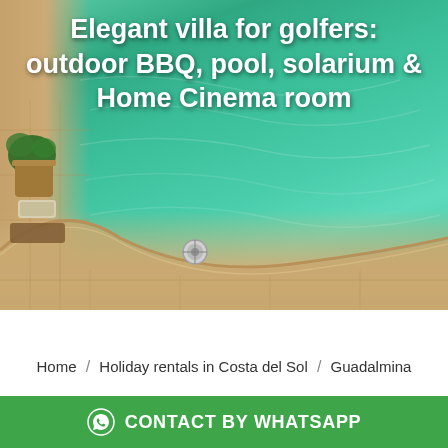[Figure (photo): Outdoor swimming pool with turquoise-green water, surrounded by sandy-colored stone patio tiles. A potted plant and decorative items are visible on the left side. The curved pool edge is visible at the bottom.]
Elegant villa for golfers: outdoor BBQ, pool, solarium & Home Cinema room
Home / Holiday rentals in Costa del Sol / Guadalmina
...
CONTACT BY WHATSAPP